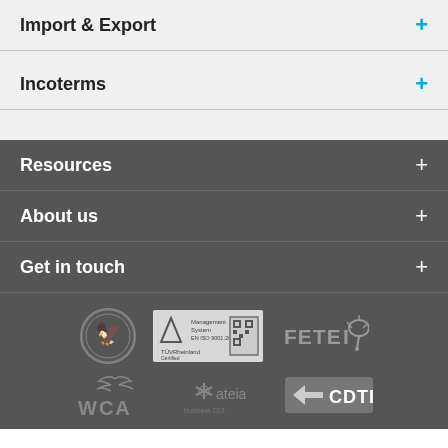Import & Export
Incoterms
Resources
About us
Get in touch
[Figure (logo): Row of certification and association logos: circular emblem, TÜV Rheinland ISO 9001 certificate with QR code, FETEIA logo]
[Figure (logo): Row of logos: WCA (World Cargo Alliance) with bird, ateia logo, CDTI logo]